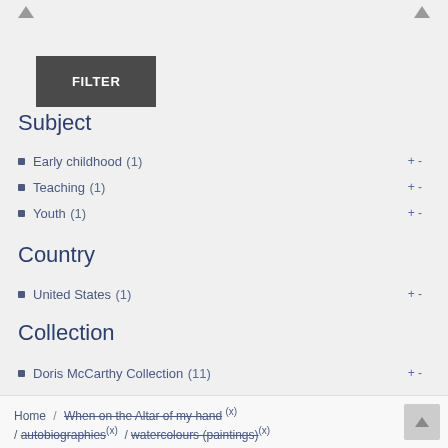[Figure (other): Filter button - dark gray button with white text 'FILTER']
Subject
Early childhood (1)
Teaching (1)
Youth (1)
Country
United States (1)
Collection
Doris McCarthy Collection (11)
Home / When on the Altar of my hand (x) / autobiographies (x) / watercolours (paintings) (x)